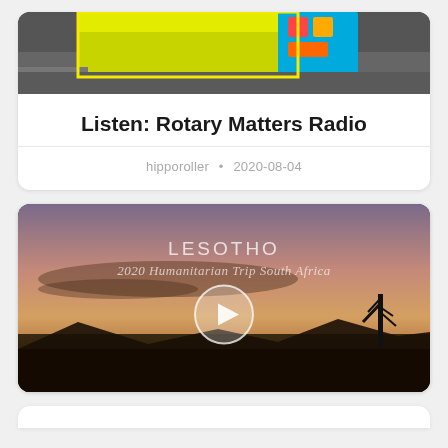[Figure (photo): Top cropped photo showing a yellow colorful decorated vehicle/truck on a road, partially visible at the top of a card]
Listen: Rotary Matters Radio
hipporoller · 2020-08-04
[Figure (screenshot): Video thumbnail showing a sunset/dusk landscape scene with LESOTHO title text and subtitle '2020 Humanitarian Trip South Africa', with a circular play button overlay in the center]
[Figure (photo): Bottom partially visible white card]